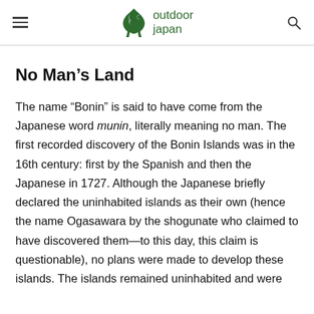outdoor japan
No Man's Land
The name “Bonin” is said to have come from the Japanese word munin, literally meaning no man. The first recorded discovery of the Bonin Islands was in the 16th century: first by the Spanish and then the Japanese in 1727. Although the Japanese briefly declared the uninhabited islands as their own (hence the name Ogasawara by the shogunate who claimed to have discovered them—to this day, this claim is questionable), no plans were made to develop these islands. The islands remained uninhabited and were